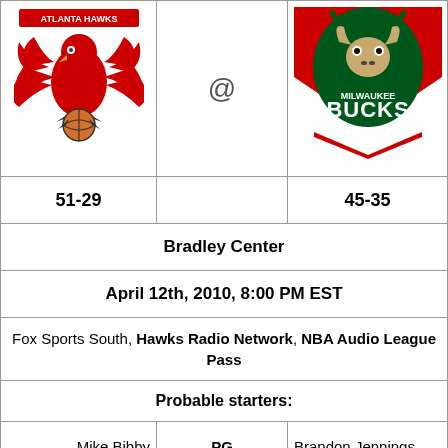[Figure (logo): Atlanta Hawks logo with red hawk holding basketball, 'ATLANTA HAWKS' text above]
@
[Figure (logo): Milwaukee Bucks logo with green deer head, 'MILWAUKEE BUCKS' text]
| Atlanta Hawks |  | Milwaukee Bucks |
| --- | --- | --- |
| 51-29 |  | 45-35 |
| Bradley Center |  |  |
| April 12th, 2010, 8:00 PM EST |  |  |
| Fox Sports South, Hawks Radio Network, NBA Audio League Pass |  |  |
| Probable starters: |  |  |
| Mike Bibby | PG | Brandon Jennings |
| Joe Johnson | SG | John Salmons |
| Marvin Williams | SF | Carlos Delfino |
| Josh Smith | PF | Luc Richard Mbah a Moute |